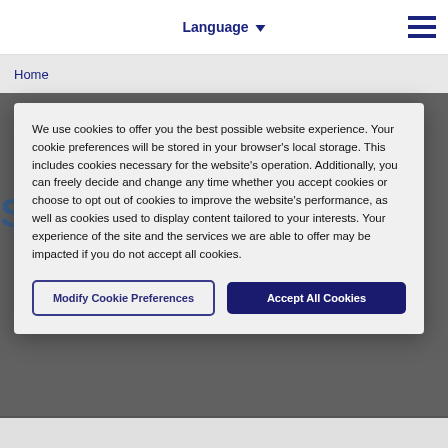Language ▾
Home
We use cookies to offer you the best possible website experience. Your cookie preferences will be stored in your browser's local storage. This includes cookies necessary for the website's operation. Additionally, you can freely decide and change any time whether you accept cookies or choose to opt out of cookies to improve the website's performance, as well as cookies used to display content tailored to your interests. Your experience of the site and the services we are able to offer may be impacted if you do not accept all cookies.
Modify Cookie Preferences
Accept All Cookies